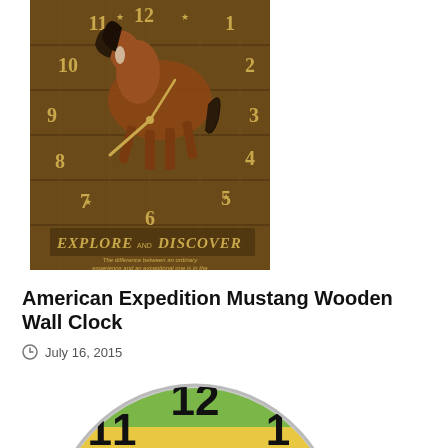[Figure (photo): A wooden wall clock featuring a running mustang horse illustration with clock numbers 1-12 arranged around it, text reading EXPLORE AND DISCOVER on a wood plank background with star decorations]
American Expedition Mustang Wooden Wall Clock
July 16, 2015
[Figure (photo): A round wall clock with colorful horizontal painted wood plank background in green, yellow, and blue/white stripes, showing clock numbers 10, 11, 12, 1, 2, 9 visible, with black clock hands]